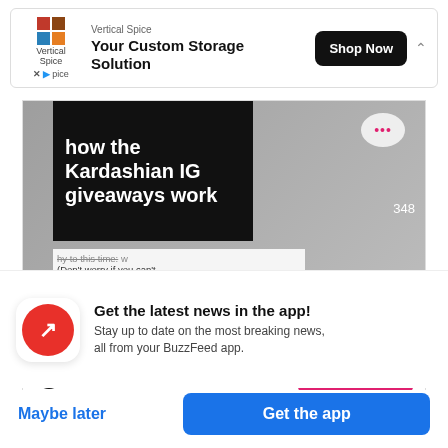[Figure (screenshot): Advertisement banner for Vertical Spice with logo, text 'Your Custom Storage Solution', and 'Shop Now' button]
[Figure (screenshot): TikTok embedded video showing 'how the Kardashian IG giveaways work' with text about giveaway details, home and search icons, 348 and 723 counts, and a Watch now button]
Get the latest news in the app! Stay up to date on the most breaking news, all from your BuzzFeed app.
Maybe later
Get the app